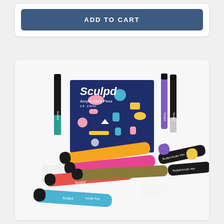ADD TO CART
[Figure (photo): Sculpd Acrylic Paint Pens product photo showing a dark navy blue box labeled 'Sculpd Acrylic Paint Pens 1.8-2.5mm' with colorful abstract shapes on the box, surrounded by multiple paint marker pens in various colors including teal, purple, black, orange, pink, red, and blue.]